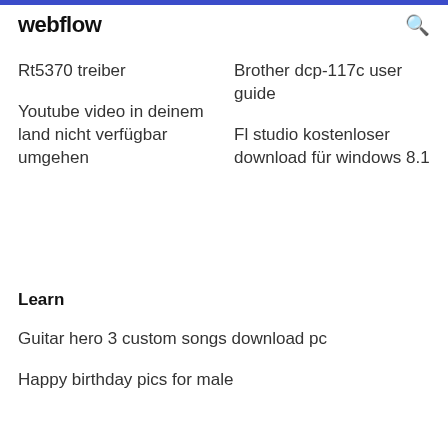webflow
Rt5370 treiber
Youtube video in deinem land nicht verfügbar umgehen
Brother dcp-117c user guide
Fl studio kostenloser download für windows 8.1
Learn
Guitar hero 3 custom songs download pc
Happy birthday pics for male